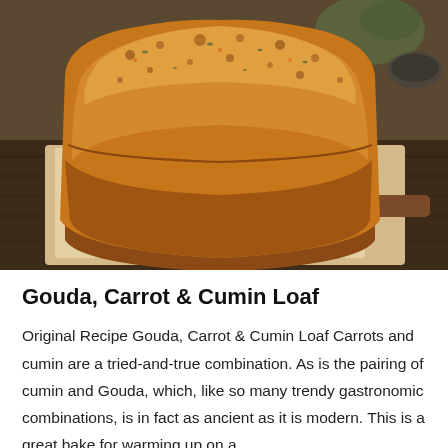[Figure (photo): A golden-brown loaf of Gouda, Carrot and Cumin bread sitting on a wooden cutting board with parchment paper, with a wooden-handled knife beside it and a blurred green vegetable and dark background behind.]
Gouda, Carrot & Cumin Loaf
Original Recipe Gouda, Carrot & Cumin Loaf Carrots and cumin are a tried-and-true combination. As is the pairing of cumin and Gouda, which, like so many trendy gastronomic combinations, is in fact as ancient as it is modern. This is a great bake for warming up on a